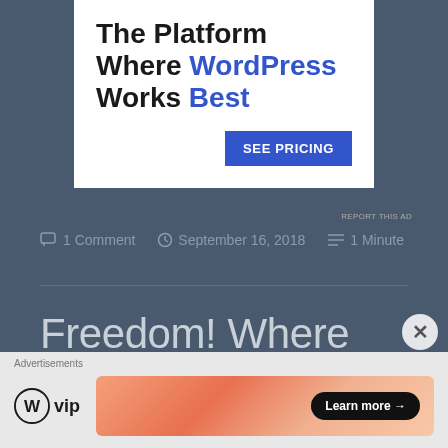[Figure (screenshot): Advertisement banner with text 'The Platform Where WordPress Works Best' and a blue 'SEE PRICING' button on white background]
REPORT THIS AD
1 Comment   September 16, 2018   1 Minute
Freedom! Where Are You? Cause I Need Freedom To U R...
[Figure (screenshot): Bottom advertisement with WordPress VIP logo and 'Learn more' button on gradient background]
Advertisements